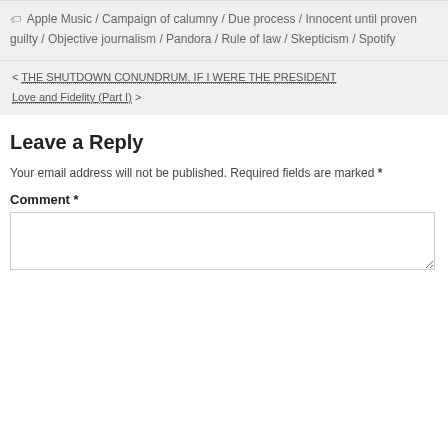Apple Music / Campaign of calumny / Due process / Innocent until proven guilty / Objective journalism / Pandora / Rule of law / Skepticism / Spotify
< THE SHUTDOWN CONUNDRUM. IF I WERE THE PRESIDENT
Love and Fidelity (Part I) >
Leave a Reply
Your email address will not be published. Required fields are marked *
Comment *